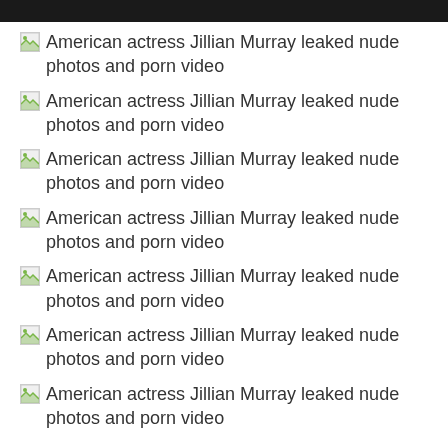American actress Jillian Murray leaked nude photos and porn video
American actress Jillian Murray leaked nude photos and porn video
American actress Jillian Murray leaked nude photos and porn video
American actress Jillian Murray leaked nude photos and porn video
American actress Jillian Murray leaked nude photos and porn video
American actress Jillian Murray leaked nude photos and porn video
American actress Jillian Murray leaked nude photos and porn video